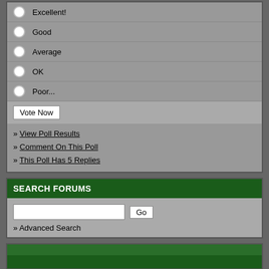Excellent!
Good
Average
OK
Poor...
Vote Now
» View Poll Results
» Comment On This Poll
» This Poll Has 5 Replies
SEARCH FORUMS
» Advanced Search
All times are GMT -5. The time now is 05:50 PM.
Powered by vBulletin®
Copyright ©2000 - 2022, vBulletin Solutions, Inc.
Powered by vBadvanced CMPS